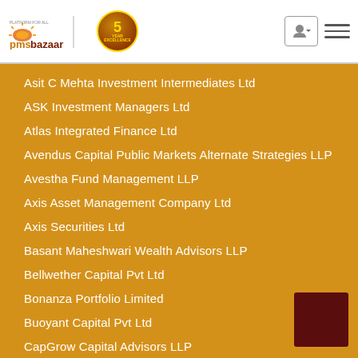[Figure (logo): PMSBazaar logo with 5-year badge, user icon button, and hamburger menu]
Asit C Mehta Investment Intermediates Ltd
ASK Investment Managers Ltd
Atlas Integrated Finance Ltd
Avendus Capital Public Markets Alternate Strategies LLP
Avestha Fund Management LLP
Axis Asset Management Company Ltd
Axis Securities Ltd
Basant Maheshwari Wealth Advisors LLP
Bellwether Capital Pvt Ltd
Bonanza Portfolio Limited
Buoyant Capital Pvt Ltd
CapGrow Capital Advisors LLP
Care Portfolio Managers Pvt Ltd
Carnelian Asset Advisors LLP
Centrum Broking Ltd
Chanakya Capital Services Private Limited